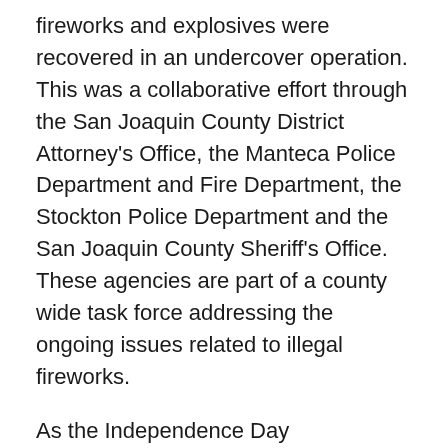fireworks and explosives were recovered in an undercover operation. This was a collaborative effort through the San Joaquin County District Attorney's Office, the Manteca Police Department and Fire Department, the Stockton Police Department and the San Joaquin County Sheriff's Office. These agencies are part of a county wide task force addressing the ongoing issues related to illegal fireworks.
As the Independence Day celebrations approach, the San Joaquin County District Attorney's Office reminds the community of the legal consequences and dangers associated with illegal firework possession and usage. It is illegal to sell, transport, or use fireworks that do not carry the "Safe and Sane" seal, as well as possess or use any fireworks in a community where they are not permitted. Law enforcement agencies in the County of San Joaquin have partnered to create an Illegal Fireworks Task Force